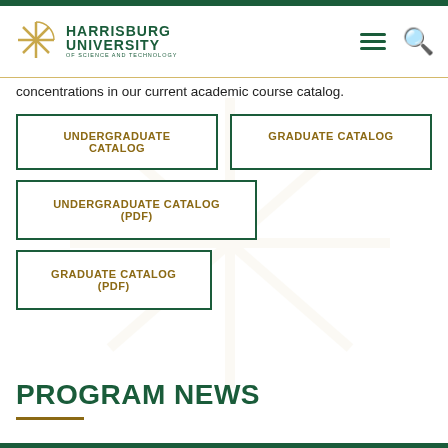[Figure (logo): Harrisburg University of Science and Technology logo with gold star/asterisk icon and dark green text]
concentrations in our current academic course catalog.
UNDERGRADUATE CATALOG
GRADUATE CATALOG
UNDERGRADUATE CATALOG (PDF)
GRADUATE CATALOG (PDF)
PROGRAM NEWS